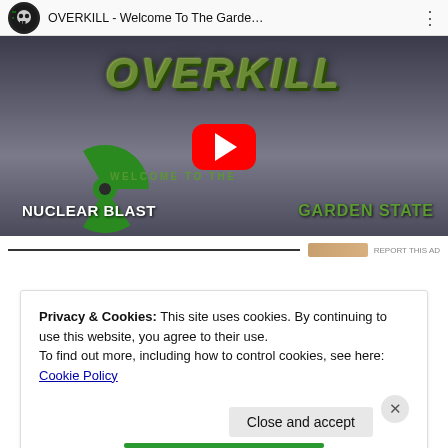[Figure (screenshot): YouTube video thumbnail for OVERKILL - Welcome To The Garden State, showing the Overkill metal band logo in green distressed text on a cloudy background, with a red YouTube play button in the center, Nuclear Blast logo at bottom left, and Garden State text at bottom right.]
REPORT THIS AD
Privacy & Cookies: This site uses cookies. By continuing to use this website, you agree to their use.
To find out more, including how to control cookies, see here: Cookie Policy
Close and accept